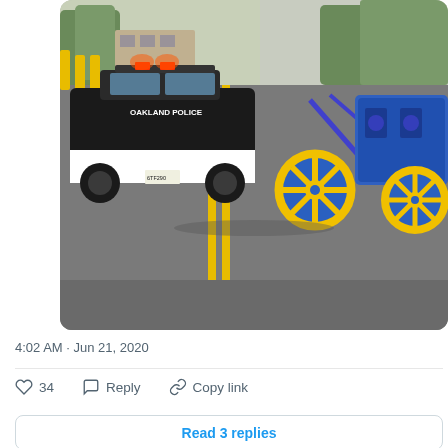[Figure (photo): Oakland Police car on a street with double yellow lines, next to a pedicab with blue and yellow decorated wheels]
4:02 AM · Jun 21, 2020
34   Reply   Copy link
Read 3 replies